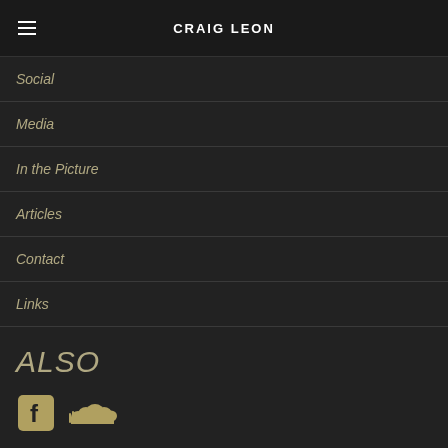CRAIG LEON
Social
Media
In the Picture
Articles
Contact
Links
ALSO
[Figure (logo): Facebook and SoundCloud social media icons in tan/gold color]
SEARCH